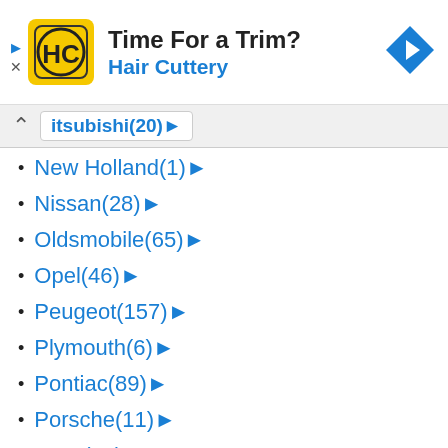[Figure (advertisement): Hair Cuttery ad banner with yellow logo, title 'Time For a Trim?' and subtitle 'Hair Cuttery', with a blue navigation arrow icon on the right]
Mitsubishi(20) ▶
New Holland(1) ▶
Nissan(28) ▶
Oldsmobile(65) ▶
Opel(46) ▶
Peugeot(157) ▶
Plymouth(6) ▶
Pontiac(89) ▶
Porsche(11) ▶
RAM(36) ▶
Range Rover(2) ▶
Renault(52) ▶
Rover(3) ▶
Saab(35) ▶
Saturn(18) ▶